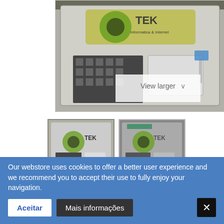[Figure (photo): Main product photo: laptop top case / chassis with touchpad, viewed from above, showing keyboard area with TEK Informatica & Internet watermark overlay. 'View larger' popup overlay visible.]
[Figure (photo): Thumbnail 1: same laptop top case photo, smaller version, active/selected state.]
[Figure (photo): Thumbnail 2: alternate angle of same laptop top case product.]
CARCAÇA CIMA C/TOUCH PAD | CHASSI | TOP CASE - GROWING DJR154SG
Our webstore uses cookies to offer a better user experience and we recommend you to accept their use to fully enjoy your navigation.
Aceitar
Mais informações